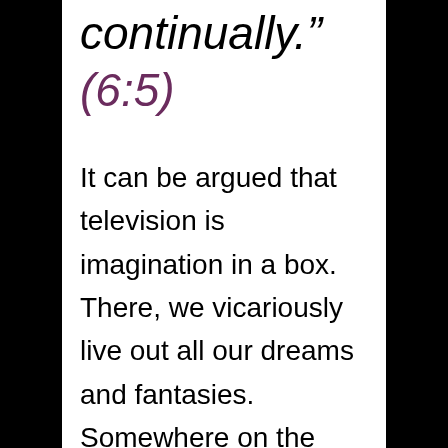continually.”
(6:5)
It can be argued that television is imagination in a box. There, we vicariously live out all our dreams and fantasies. Somewhere on the cable dial, there is something